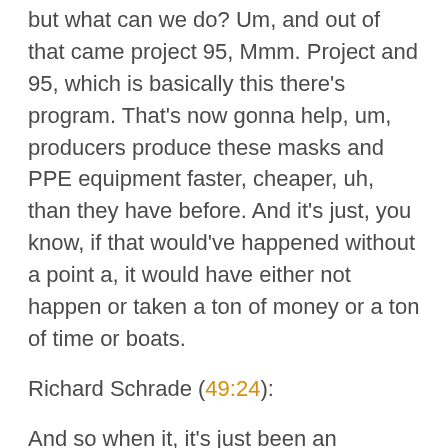but what can we do? Um, and out of that came project 95, Mmm. Project and 95, which is basically this there's program. That's now gonna help, um, producers produce these masks and PPE equipment faster, cheaper, uh, than they have before. And it's just, you know, if that would've happened without a point a, it would have either not happen or taken a ton of money or a ton of time or boats.
Richard Schrade (49:24):
And so when it, it's just been an awesome, uh, organization to be a part of, and we're thankful to